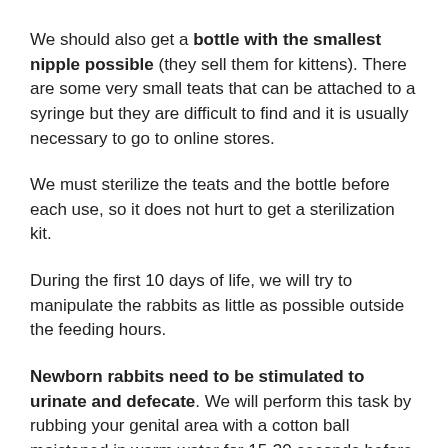We should also get a bottle with the smallest nipple possible (they sell them for kittens). There are some very small teats that can be attached to a syringe but they are difficult to find and it is usually necessary to go to online stores.
We must sterilize the teats and the bottle before each use, so it does not hurt to get a sterilization kit.
During the first 10 days of life, we will try to manipulate the rabbits as little as possible outside the feeding hours.
Newborn rabbits need to be stimulated to urinate and defecate. We will perform this task by rubbing your genital area with a cotton ball moistened in warm water for 15-30 seconds before eating. If it doesn't work we will try after eating as well. If we don't get him to relieve himself, the kid can die.